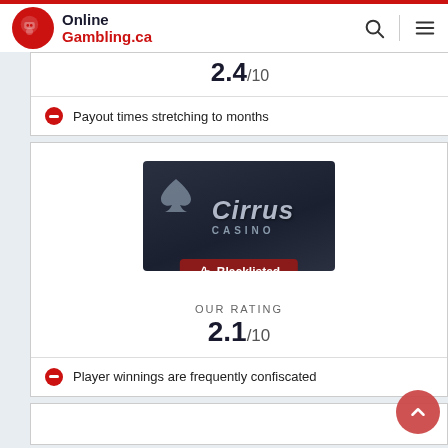OnlineGambling.ca
2.4/10
Payout times stretching to months
[Figure (logo): Cirrus Casino logo on dark background with Blacklisted badge]
OUR RATING
2.1/10
Player winnings are frequently confiscated